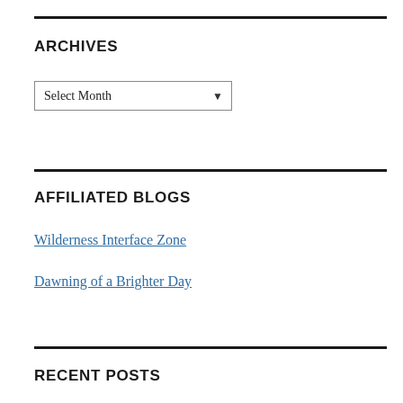ARCHIVES
Select Month
AFFILIATED BLOGS
Wilderness Interface Zone
Dawning of a Brighter Day
RECENT POSTS